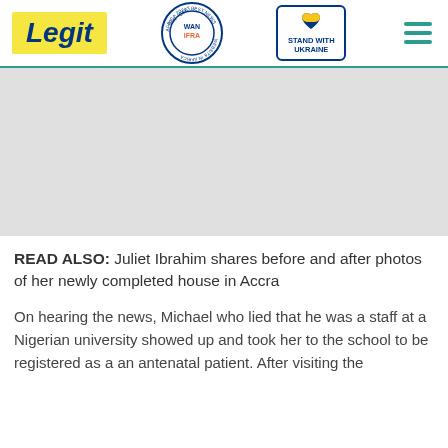Legit | WAN IFRA 2021 Best News Website in Africa | Stand with Ukraine
[Figure (other): Gray advertisement placeholder area]
READ ALSO: Juliet Ibrahim shares before and after photos of her newly completed house in Accra
On hearing the news, Michael who lied that he was a staff at a Nigerian university showed up and took her to the school to be registered as a an antenatal patient. After visiting the